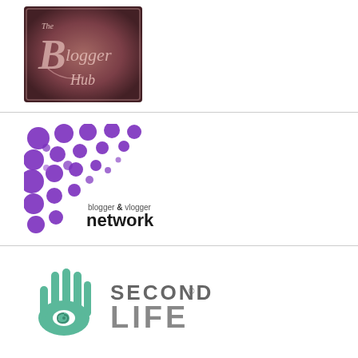[Figure (logo): The Blogger Hub logo - a decorative script text on a dark pink/mauve textured background with ornate lettering]
[Figure (logo): Blogger and Vlogger Network logo - purple circles/bubbles arranged in a corner pattern with text 'blogger & vlogger network' in purple and black]
[Figure (logo): Second Life logo - a teal/green hand with eye symbol and gray text 'SECOND LIFE' with registered trademark symbol]